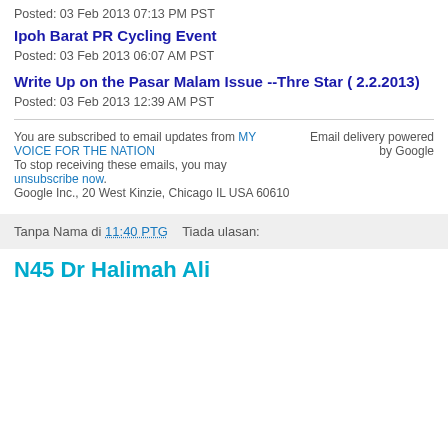Posted: 03 Feb 2013 07:13 PM PST
Ipoh Barat PR Cycling Event
Posted: 03 Feb 2013 06:07 AM PST
Write Up on the Pasar Malam Issue --Thre Star ( 2.2.2013)
Posted: 03 Feb 2013 12:39 AM PST
You are subscribed to email updates from MY VOICE FOR THE NATION
To stop receiving these emails, you may unsubscribe now.
Google Inc., 20 West Kinzie, Chicago IL USA 60610
Email delivery powered by Google
Tanpa Nama di 11:40 PTG   Tiada ulasan:
N45 Dr Halimah Ali